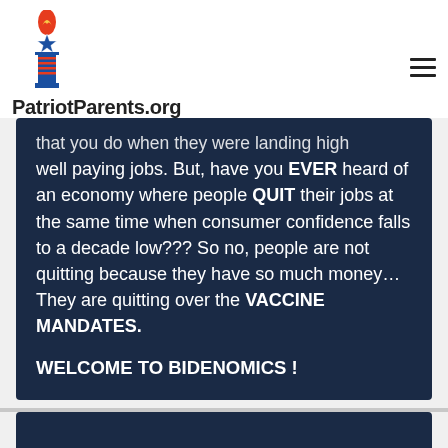[Figure (logo): PatriotParents.org logo: a torch with flame on top of a star and striped column/pillar, in red, white, and blue]
PatriotParents.org
...that you do when they were landing high well paying jobs. But, have you EVER heard of an economy where people QUIT their jobs at the same time when consumer confidence falls to a decade low??? So no, people are not quitting because they have so much money... They are quitting over the VACCINE MANDATES.

WELCOME TO BIDENOMICS !